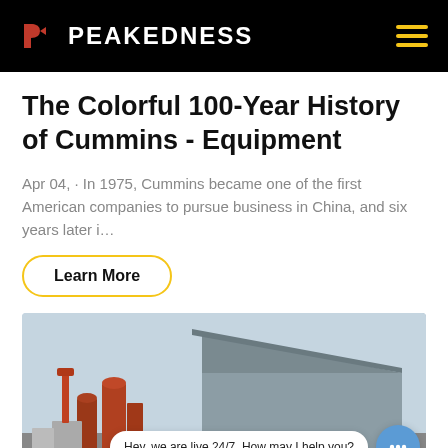PEAKEDNESS
The Colorful 100-Year History of Cummins - Equipment
Apr 04, · In 1975, Cummins became one of the first American companies to pursue business in China, and six years later i…
Learn More
[Figure (photo): Industrial facility with silos and large metal warehouse building against a cloudy sky]
Hey, we are live 24/7. How may I help you?